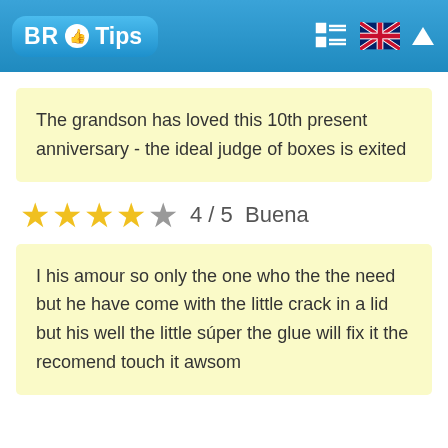BR Tips
The grandson has loved this 10th present anniversary - the ideal judge of boxes is exited
★★★★☆ 4 / 5  Buena
I his amour so only the one who the the need but he have come with the little crack in a lid but his well the little súper the glue will fix it the recomend touch it awsom